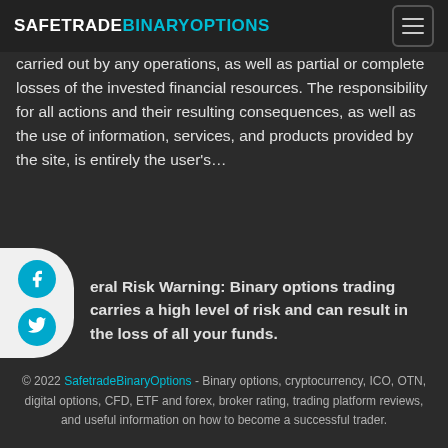SAFETRADE BINARYOPTIONS
carried out by any operations, as well as partial or complete losses of the invested financial resources. The responsibility for all actions and their resulting consequences, as well as the use of information, services, and products provided by the site, is entirely the user's…
General Risk Warning: Binary options trading carries a high level of risk and can result in the loss of all your funds.
© 2022 SafetradeBinaryOptions - Binary options, cryptocurrency, ICO, OTN, digital options, CFD, ETF and forex, broker rating, trading platform reviews, and useful information on how to become a successful trader.